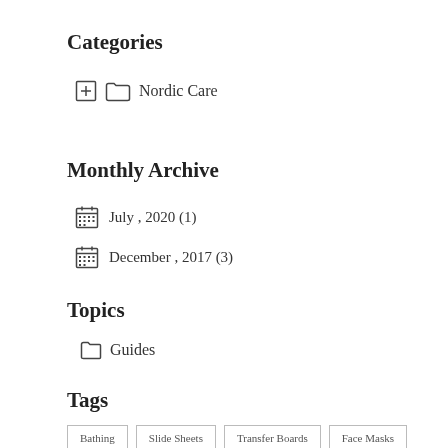Categories
Nordic Care
Monthly Archive
July , 2020 (1)
December , 2017 (3)
Topics
Guides
Tags
Bathing
Slide Sheets
Transfer Boards
Face Masks